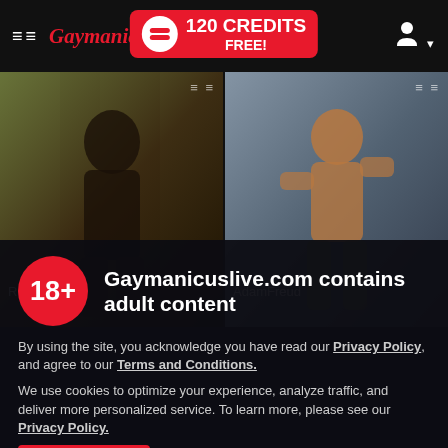GaymanicusLive — 120 CREDITS FREE!
[Figure (screenshot): Two male model profile photos side by side. Left: tattooed man with black tank top in front of graffiti wall. Right: muscular man in red bandana flexing biceps outdoors. Labels 'RomPicasso' and 'AdamFreud' shown at bottom of each photo.]
Gaymanicuslive.com contains adult content
By using the site, you acknowledge you have read our Privacy Policy, and agree to our Terms and Conditions.
We use cookies to optimize your experience, analyze traffic, and deliver more personalized service. To learn more, please see our Privacy Policy.
I AGREE